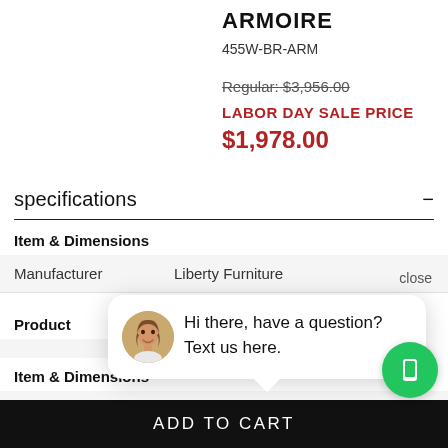ARMOIRE
455W-BR-ARM
Regular: $3,956.00
LABOR DAY SALE PRICE
$1,978.00
specifications
| Item & Dimensions |  |
| --- | --- |
| Manufacturer | Liberty Furniture |
| Product |  |
| --- | --- |
| Item & Dimensions |  |
| --- | --- |
| Width (side to side) | 58" W |
[Figure (other): Chat popup widget with avatar photo of a woman and text: Hi there, have a question? Text us here. Also includes a close button and a green phone icon button.]
ADD TO CART